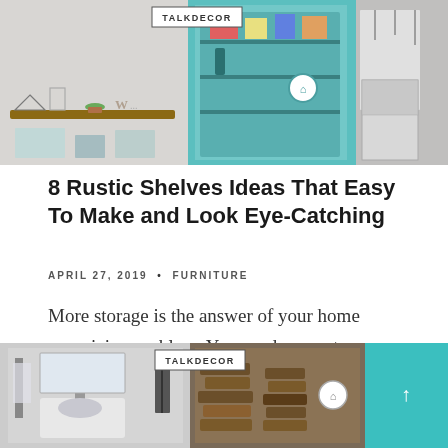[Figure (photo): Collage of three home decor/shelf images with TALKDECOR watermark badge at top]
8 Rustic Shelves Ideas That Easy To Make and Look Eye-Catching
APRIL 27, 2019  •  FURNITURE
More storage is the answer of your home organizing problem. You need more storage to keep your good...
[Figure (photo): Collage of home decor images with TALKDECOR watermark badge, including bathroom and wooden shelves, with teal scroll-up button]